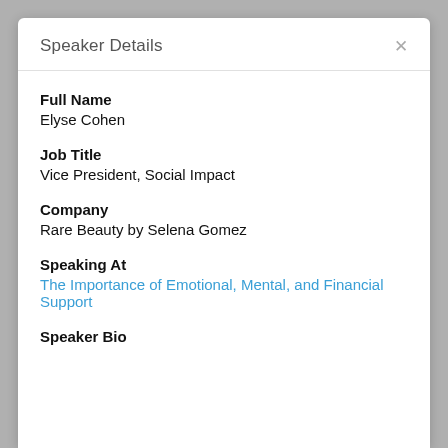Speaker Details
Full Name
Elyse Cohen
Job Title
Vice President, Social Impact
Company
Rare Beauty by Selena Gomez
Speaking At
The Importance of Emotional, Mental, and Financial Support
Speaker Bio